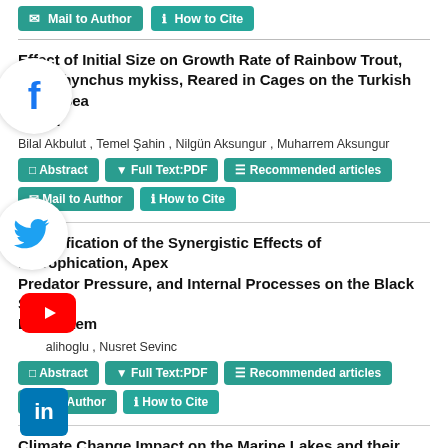Mail to Author | How to Cite
Effect of Initial Size on Growth Rate of Rainbow Trout, Oncorhynchus mykiss, Reared in Cages on the Turkish Black Sea Coast
Bilal Akbulut , Temel Şahin , Nilgün Aksungur , Muharrem Aksungur
Quantification of the Synergistic Effects of Eutrophication, Apex Predator Pressure, and Internal Processes on the Black Sea Ecosystem
... alihoglu , Nusret Sevinc
Climate Change Impact on the Marine Lakes and their Crustaceans: The Case of Marine Hypersaline Lake Bakalskoye (Ukraine)
Nickolai V. Shadrin , Elena V. Anufriieva